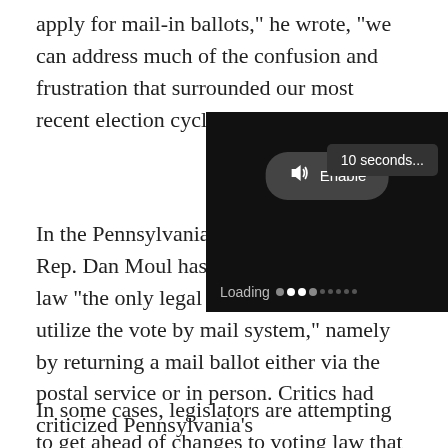apply for mail-in ballots," he wrote, "we can address much of the confusion and frustration that surrounded our most recent election cycle."
In the Pennsylvania House, meanwhile, Rep. Dan Moul has vowed to codify into law "the only legal ways for a voter to utilize the vote by mail system," namely by returning a mail ballot either via the postal service or in person. Critics had criticized Pennsylvania's use of drop boxes during the 2020 election as posing a significant security risk, though the state Supreme Court ruled in a split decision that th
[Figure (screenshot): Video player overlay showing a black video player with a '10 seconds...' tooltip, an audio Enable button, and a Loading indicator with animated dots.]
In some cases, legislators are attempting to get ahead of changes to voting law that were observed in some states